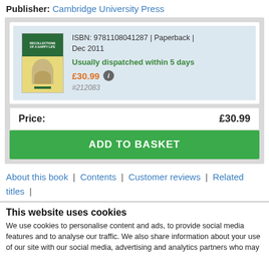Publisher: Cambridge University Press
[Figure (illustration): Book cover thumbnail showing 'Recollections of a Happy Life' with green top band and portrait illustration on yellow background]
ISBN: 9781108041287 | Paperback | Dec 2011
Usually dispatched within 5 days
£30.99 ℹ #212083
| Price: | £30.99 |
| --- | --- |
ADD TO BASKET
About this book | Contents | Customer reviews | Related titles |
This website uses cookies
We use cookies to personalise content and ads, to provide social media features and to analyse our traffic. We also share information about your use of our site with our social media, advertising and analytics partners who may